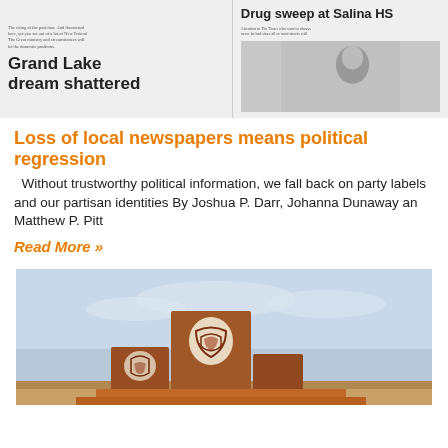[Figure (photo): Newspaper front page showing two headlines: 'Grand Lake dream shattered' on the left and 'Drug sweep at Salina HS' on the right with a photo of a person]
Loss of local newspapers means political regression
Without trustworthy political information, we fall back on party labels and our partisan identities By Joshua P. Darr, Johanna Dunaway an Matthew P. Pitt
Read More »
[Figure (photo): Outdoor sculpture of terracotta/rust-colored geometric shapes with Native American pottery designs on a light blue sky background]